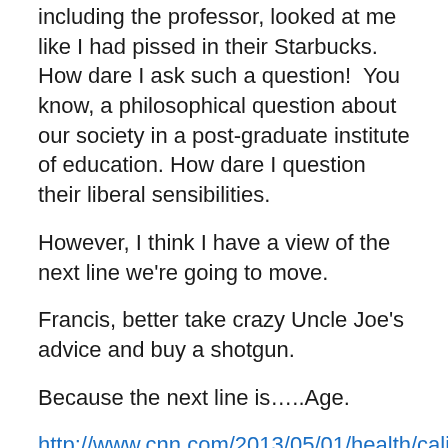including the professor, looked at me like I had pissed in their Starbucks. How dare I ask such a question!  You know, a philosophical question about our society in a post-graduate institute of education. How dare I question their liberal sensibilities.
However, I think I have a view of the next line we're going to move.
Francis, better take crazy Uncle Joe's advice and buy a shotgun.
Because the next line is…..Age.
http://www.cnn.com/2013/05/01/health/california-free-condoms/index.html
http://www.cnn.com/2013/04/30/health/morning-after-